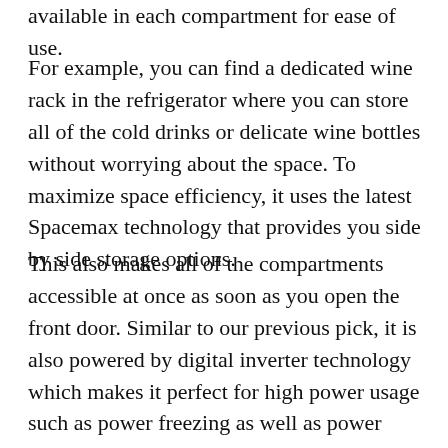available in each compartment for ease of use.
For example, you can find a dedicated wine rack in the refrigerator where you can store all of the cold drinks or delicate wine bottles without worrying about the space. To maximize space efficiency, it uses the latest Spacemax technology that provides you side by side storage options.
This also makes all of the compartments accessible at once as soon as you open the front door. Similar to our previous pick, it is also powered by digital inverter technology which makes it perfect for high power usage such as power freezing as well as power cooling.